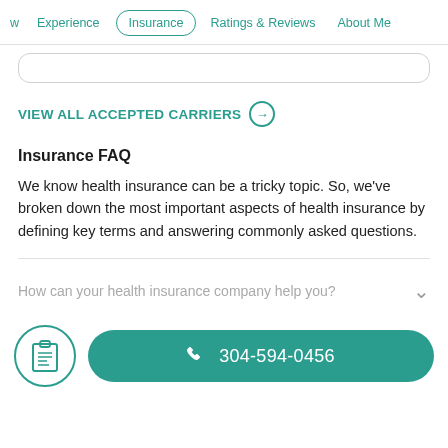w | Experience | Insurance | Ratings & Reviews | About Me
VIEW ALL ACCEPTED CARRIERS →
Insurance FAQ
We know health insurance can be a tricky topic. So, we've broken down the most important aspects of health insurance by defining key terms and answering commonly asked questions.
How can your health insurance company help you?
304-594-0456